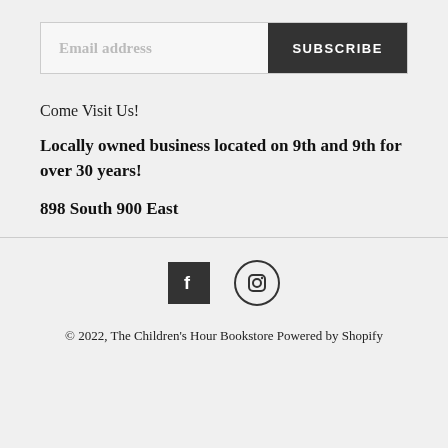[Figure (other): Email address input field with SUBSCRIBE button]
Come Visit Us!
Locally owned business located on 9th and 9th for over 30 years!
898 South 900 East
[Figure (other): Facebook and Instagram social media icons]
© 2022, The Children's Hour Bookstore Powered by Shopify